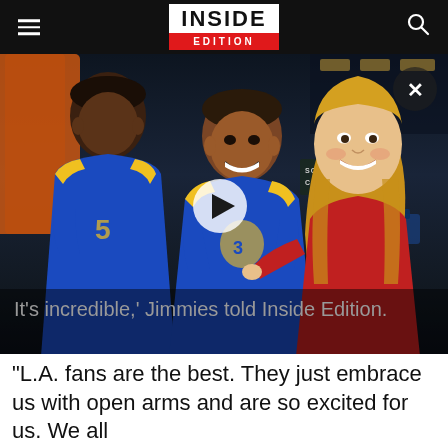INSIDE EDITION
[Figure (screenshot): Video thumbnail showing two men in blue and yellow Los Angeles Rams jerseys being interviewed by a blonde woman in a red top. A play button is visible in the center. Background shows a sports event venue with 'Scouting Combine' signage. Close button (X) in top right corner.]
It's incredible,' Jimmies told Inside Edition. "L.A. fans are the best. They just embrace us with open arms and are so excited for us. We all